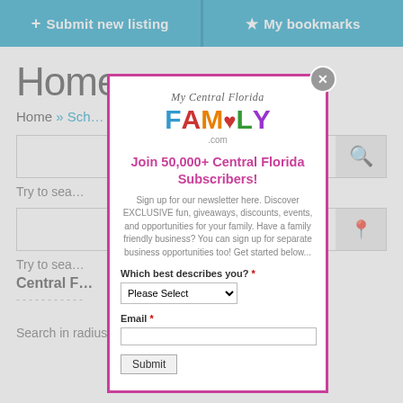[Figure (screenshot): Website UI screenshot showing navigation bar with 'Submit new listing' and 'My bookmarks' buttons in teal, background page with 'Home' heading, breadcrumb navigation, and search bars.]
[Figure (screenshot): Modal popup overlay for 'My Central Florida Family.com' newsletter signup. Contains logo, headline 'Join 50,000+ Central Florida Subscribers!', descriptive text, a dropdown for 'Which best describes you?', an Email field, and a Submit button.]